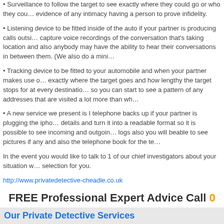• Surveillance to follow the target to see exactly where they could go or who they could meet, we offer evidence of any intimacy having a person to prove infidelity.
• Listening device to be fitted inside of the auto if your partner is producing calls outside, we can capture voice recordings of the conversation that's taking location and also anybody else who may have the ability to hear their conversations in between them. (We also do a mini...)
• Tracking device to be fitted to your automobile and when your partner makes use of it, we know exactly where the target goes and how lengthy the target stops for at every destination, so you can start to see a pattern of any addresses that are visited a lot more than wh...
• A new service we present is I telephone backs up if your partner is plugging the iphone in, we take details and turn it into a readable format so it is possible to see incoming and outgoing call logs also you will beable to see pictures if any and also the telephone book for the te...
In the event you would like to talk to 1 of our chief investigators about your situation we will make a selection for you.
http://www.privatedetective-cheadle.co.uk
FREE Professional Expert Advice Call 0...
Our Private Detective Services